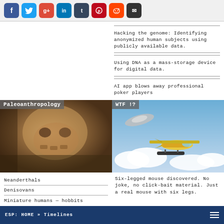[Figure (other): Row of social media share icons: Facebook (blue), Twitter (light blue), Google+ (red), LinkedIn (blue), Tumblr (dark blue), Pinterest (red), Reddit (orange), Email (black)]
Hacking the genome: Identifying anonymized human subjects using publicly available data.
Using DNA as a mass-storage device for digital data.
AI app blows away professional poker players
[Figure (photo): Paleoanthropology category image showing ancient human skull fossil, brown and aged, close-up photograph]
[Figure (photo): WTF!? category image showing a seaplane (yellow and white float plane) flying in blue sky with clouds, and a blurred UFO-like disc object in upper left]
Neanderthals
Denisovans
Miniature humans — hobbits
Six-legged mouse discovered. No joke, no click-bait material. Just a real mouse with six legs.
ESP: HOME » Timelines